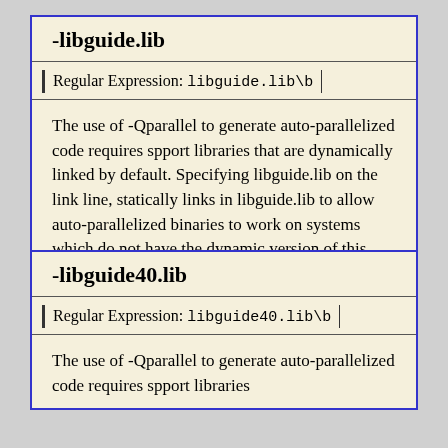-libguide.lib
Regular Expression: libguide.lib\b
The use of -Qparallel to generate auto-parallelized code requires spport libraries that are dynamically linked by default. Specifying libguide.lib on the link line, statically links in libguide.lib to allow auto-parallelized binaries to work on systems which do not have the dynamic version of this library installed.
-libguide40.lib
Regular Expression: libguide40.lib\b
The use of -Qparallel to generate auto-parallelized code requires spport libraries